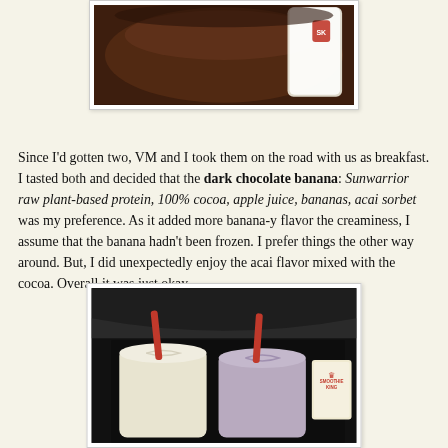[Figure (photo): Close-up photo of a dark chocolate smoothie in a white bowl/cup with a red and white branded cup partially visible in the background]
Since I'd gotten two, VM and I took them on the road with us as breakfast. I tasted both and decided that the dark chocolate banana: Sunwarrior raw plant-based protein, 100% cocoa, apple juice, bananas, acai sorbet was my preference. As it added more banana-y flavor the creaminess, I assume that the banana hadn't been frozen. I prefer things the other way around. But, I did unexpectedly enjoy the acai flavor mixed with the cocoa. Overall it was just okay.
[Figure (photo): Photo of two Smoothie King smoothies in white cups with red straws sitting in car cup holders, with a Smoothie King napkin/bag visible on the right]